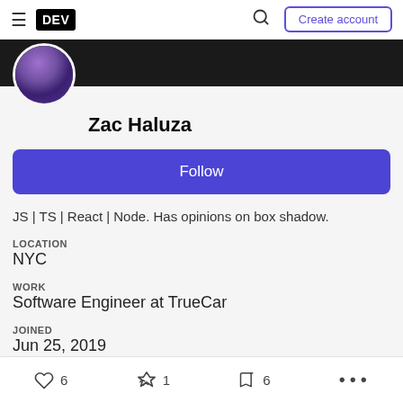DEV — Create account
[Figure (photo): DEV.to profile page for Zac Haluza showing avatar, Follow button, bio, location NYC, work at TrueCar, joined Jun 25 2019]
Zac Haluza
Follow
JS | TS | React | Node. Has opinions on box shadow.
LOCATION
NYC
WORK
Software Engineer at TrueCar
JOINED
Jun 25, 2019
6 reactions  1 unicorn  6 bookmarks  ...